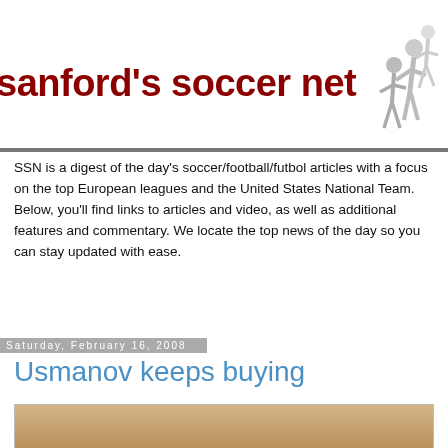[Figure (logo): Sanford's Soccer Net logo with site title in dark red bold text and soccer players illustration on the right]
SSN is a digest of the day's soccer/football/futbol articles with a focus on the top European leagues and the United States National Team. Below, you'll find links to articles and video, as well as additional features and commentary. We locate the top news of the day so you can stay updated with ease.
Saturday, February 16, 2008
Usmanov keeps buying
[Figure (photo): Partial photo at bottom of page, warm brown tones suggesting an indoor sports or stadium setting]